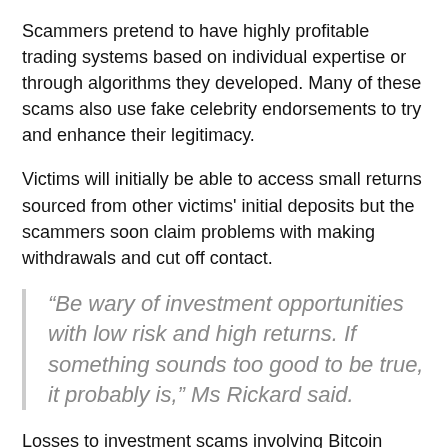Scammers pretend to have highly profitable trading systems based on individual expertise or through algorithms they developed. Many of these scams also use fake celebrity endorsements to try and enhance their legitimacy.
Victims will initially be able to access small returns sourced from other victims' initial deposits but the scammers soon claim problems with making withdrawals and cut off contact.
“Be wary of investment opportunities with low risk and high returns. If something sounds too good to be true, it probably is,” Ms Rickard said.
Losses to investment scams involving Bitcoin have already reached $25.7 million this year, compared to $17.8 million across all of 2020,